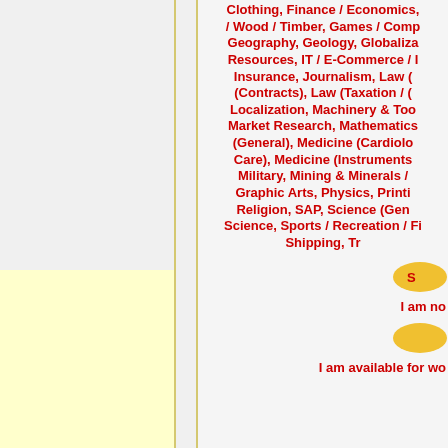Clothing, Finance / Economics, / Wood / Timber, Games / Comp Geography, Geology, Globaliza Resources, IT / E-Commerce / I Insurance, Journalism, Law (Contracts), Law (Taxation / ( Localization, Machinery & Too Market Research, Mathematics (General), Medicine (Cardiolo Care), Medicine (Instruments Military, Mining & Minerals / Graphic Arts, Physics, Printi Religion, SAP, Science (Gen Science, Sports / Recreation / Fi Shipping, Tr
[Figure (illustration): Yellow speech bubble / badge icon]
I am no
[Figure (illustration): Yellow speech bubble / badge icon]
I am available for wo